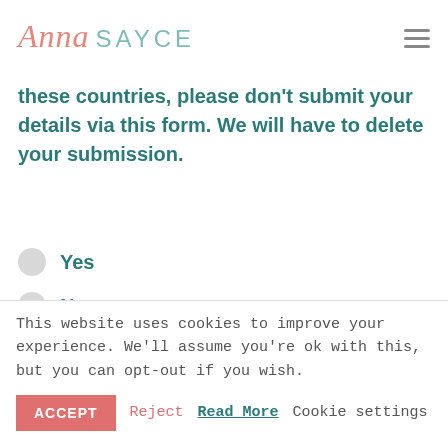Anna SAYCE
these countries, please don't submit your details via this form. We will have to delete your submission.
Yes
No
Are you a native English speaker?
Yes
No
This website uses cookies to improve your experience. We'll assume you're ok with this, but you can opt-out if you wish.
ACCEPT   Reject   Read More   Cookie settings